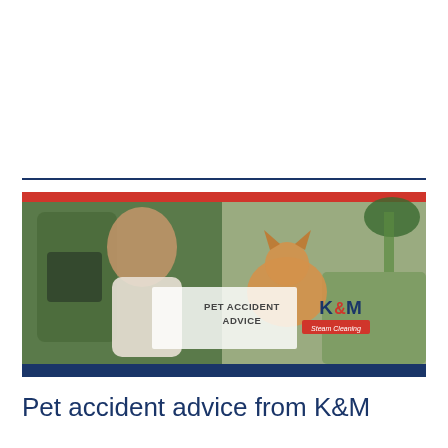[Figure (photo): Banner image showing a woman interacting with a Shiba Inu dog on a porch with green furniture and plants. Overlaid with a semi-transparent white box containing text 'PET ACCIDENT ADVICE' and the K&M Steam Cleaning logo. The banner has a red stripe at top and a dark navy stripe at the bottom.]
Pet accident advice from K&M